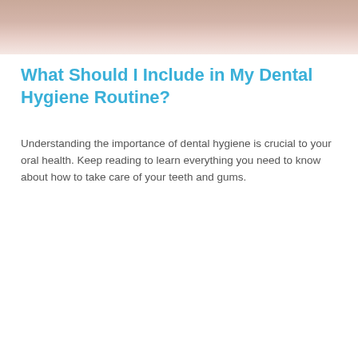[Figure (photo): Partial photo of a person's face/chin area, cropped at top of page]
What Should I Include in My Dental Hygiene Routine?
Understanding the importance of dental hygiene is crucial to your oral health. Keep reading to learn everything you need to know about how to take care of your teeth and gums.
[Figure (photo): Photo of a young blonde woman lying down with eyes closed, grimacing and holding her jaw/cheeks with both hands, suggesting dental pain or toothache]